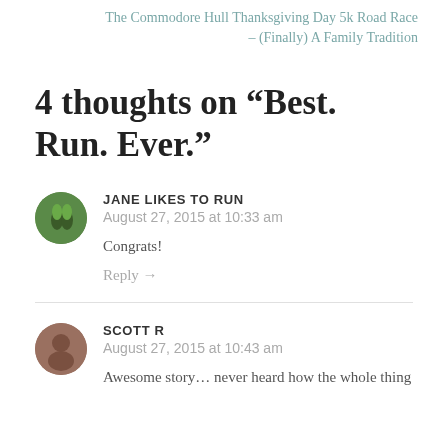The Commodore Hull Thanksgiving Day 5k Road Race – (Finally) A Family Tradition
4 thoughts on “Best. Run. Ever.”
JANE LIKES TO RUN
August 27, 2015 at 10:33 am
Congrats!
Reply →
SCOTT R
August 27, 2015 at 10:43 am
Awesome story… never heard how the whole thing